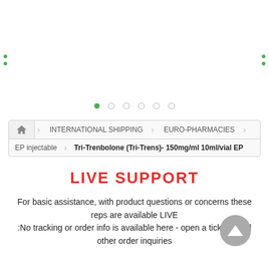[Figure (other): Carousel image area with navigation dots and side arrow indicators. Six dots shown at bottom, first dot active (green), rest grey/outline. Small green dot arrows on left and right edges.]
INTERNATIONAL SHIPPING › EURO-PHARMACIES › EP injectable › Tri-Trenbolone (Tri-Trens)- 150mg/ml 10ml/vial EP
LIVE SUPPORT
For basic assistance, with product questions or concerns these reps are available LIVE
:No tracking or order info is available here - open a ticket for all other order inquiries